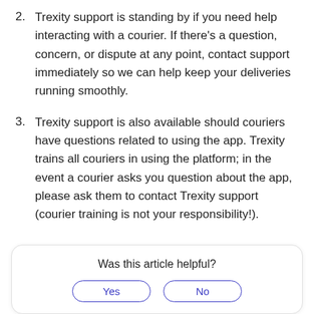2. Trexity support is standing by if you need help interacting with a courier. If there's a question, concern, or dispute at any point, contact support immediately so we can help keep your deliveries running smoothly.
3. Trexity support is also available should couriers have questions related to using the app. Trexity trains all couriers in using the platform; in the event a courier asks you question about the app, please ask them to contact Trexity support (courier training is not your responsibility!).
Was this article helpful?